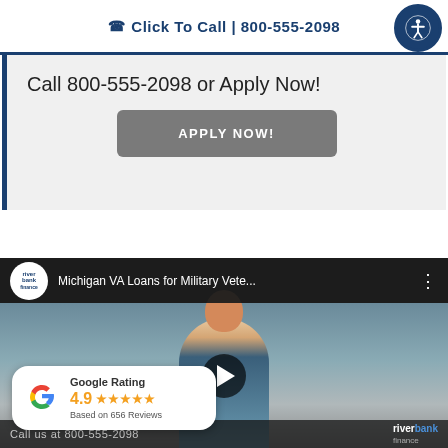☎ Click To Call | 800-555-2098
Call 800-555-2098 or Apply Now!
APPLY NOW!
[Figure (screenshot): YouTube-style video player showing 'Michigan VA Loans for Military Vete...' with Riverbank Finance channel logo, a man in a plaid shirt, play button overlay, and a Google Rating card showing 4.9 stars based on 656 reviews. Bottom bar shows 'Call us at 800-555-2098' and riverbank finance logo.]